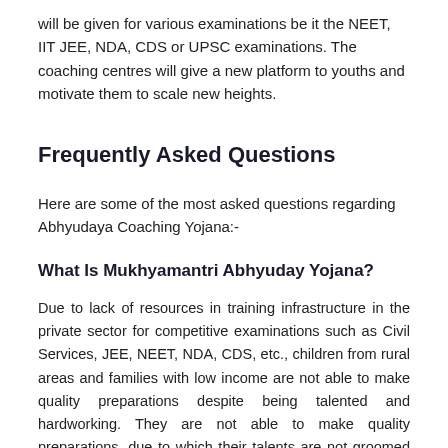will be given for various examinations be it the NEET, IIT JEE, NDA, CDS or UPSC examinations. The coaching centres will give a new platform to youths and motivate them to scale new heights.
Frequently Asked Questions
Here are some of the most asked questions regarding Abhyudaya Coaching Yojana:-
What Is Mukhyamantri Abhyuday Yojana?
Due to lack of resources in training infrastructure in the private sector for competitive examinations such as Civil Services, JEE, NEET, NDA, CDS, etc., children from rural areas and families with low income are not able to make quality preparations despite being talented and hardworking. They are not able to make quality preparations, due to which their talents are not groomed properly and the society is also deprived of their services. In such a situation, there has been a need to set up pre-examination training centres across the state to guide all the youth of the state